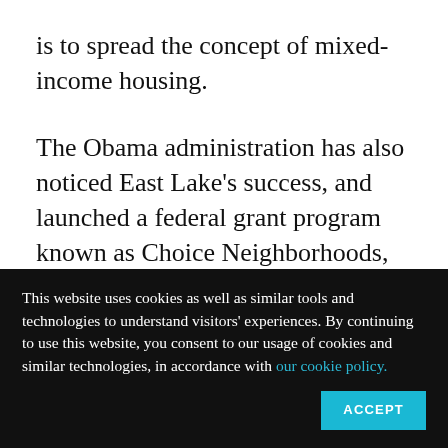is to spread the concept of mixed-income housing.
The Obama administration has also noticed East Lake's success, and launched a federal grant program known as Choice Neighborhoods, which has given out $130 million since 2010 to city agencies that propose more holistic strategies for attacking poverty; it will send out an additional $120 million this
This website uses cookies as well as similar tools and technologies to understand visitors' experiences. By continuing to use this website, you consent to our usage of cookies and similar technologies, in accordance with our cookie policy.